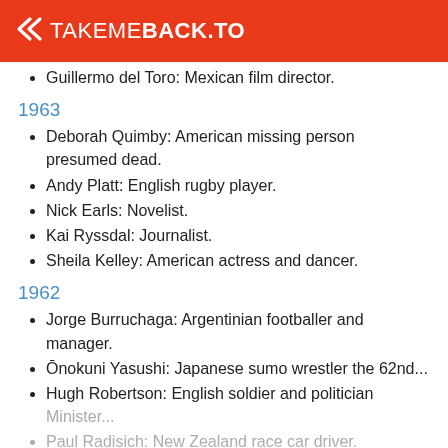TAKEMEBACK.TO
Guillermo del Toro: Mexican film director.
1963
Deborah Quimby: American missing person presumed dead.
Andy Platt: English rugby player.
Nick Earls: Novelist.
Kai Ryssdal: Journalist.
Sheila Kelley: American actress and dancer.
1962
Jorge Burruchaga: Argentinian footballer and manager.
Ōnokuni Yasushi: Japanese sumo wrestler the 62nd...
Hugh Robertson: English soldier and politician Minister...
Paul Radisich: New Zealand race car driver.
Ōnokuni Yasushi: Japanese sumo wrestler th...